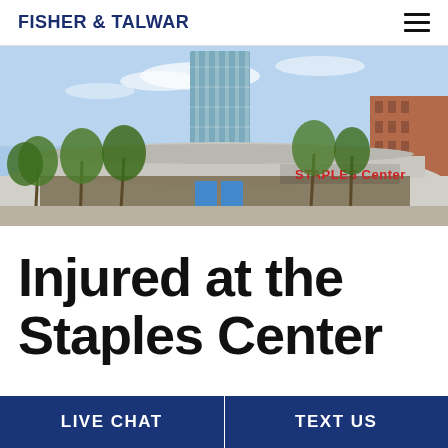FISHER & TALWAR
[Figure (photo): Exterior photograph of the Staples Center arena in Los Angeles, showing the curved building facade with 'STAPLES Center' signage in red, palm trees in the foreground, a tall glass skyscraper tower behind, and a brick building to the right, under a partly cloudy blue sky.]
Injured at the Staples Center
LIVE CHAT
TEXT US